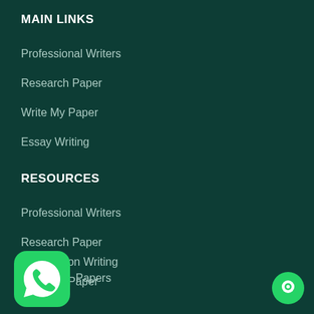MAIN LINKS
Professional Writers
Research Paper
Write My Paper
Essay Writing
RESOURCES
Professional Writers
Research Paper
Dissertation Writing
Write My Paper
Essay Writing
Papers
[Figure (logo): WhatsApp logo icon — green rounded square with white phone handset inside speech bubble]
[Figure (logo): Green circular chat/messaging button icon with white chat bubble]